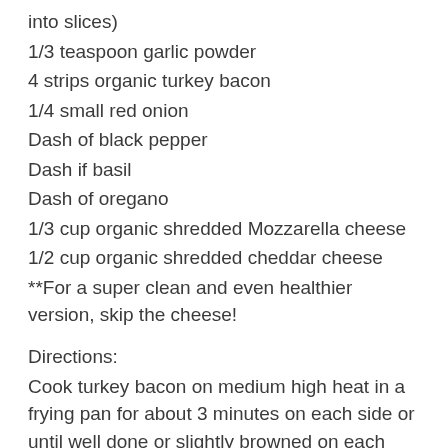into slices)
1/3 teaspoon garlic powder
4 strips organic turkey bacon
1/4 small red onion
Dash of black pepper
Dash if basil
Dash of oregano
1/3 cup organic shredded Mozzarella cheese
1/2 cup organic shredded cheddar cheese
**For a super clean and even healthier version, skip the cheese!
Directions:
Cook turkey bacon on medium high heat in a frying pan for about 3 minutes on each side or until well done or slightly browned on each side. Remove from heat and place strips on a plate to cool. Once the